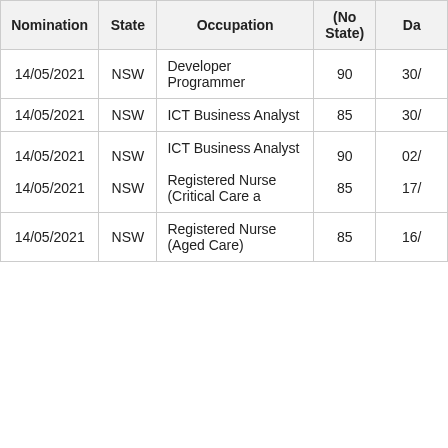| Nomination | State | Occupation | (No State) | Da |
| --- | --- | --- | --- | --- |
| 14/05/2021 | NSW | Developer Programmer | 90 | 30/ |
| 14/05/2021 | NSW | ICT Business Analyst | 85 | 30/ |
| 14/05/2021
14/05/2021 | NSW
NSW | ICT Business Analyst
Registered Nurse (Critical Care a | 90
85 | 02/
17/ |
| 14/05/2021 | NSW | Registered Nurse (Aged Care) | 85 | 16/ |